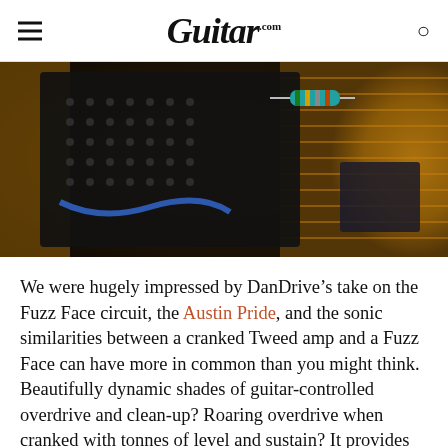Guitar.com
[Figure (photo): Close-up photograph of electronic circuit board components including resistors, capacitors and wiring against a woven textile background in amber/gold tones.]
We were hugely impressed by DanDrive’s take on the Fuzz Face circuit, the Austin Pride, and the sonic similarities between a cranked Tweed amp and a Fuzz Face can have more in common than you might think. Beautifully dynamic shades of guitar-controlled overdrive and clean-up? Roaring overdrive when cranked with tonnes of level and sustain? It provides hours of fun...